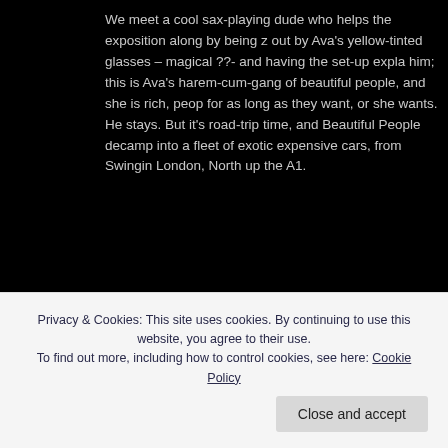We meet a cool sax-playing dude who helps the exposition along by being z out by Ava's yellow-tinted glasses – magical ??- and having the set-up expla him; this is Ava's harem-cum-gang of beautiful people, and she is rich, peop for as long as they want, or she wants. He stays. But it's road-trip time, and Beautiful People decamp into a fleet of exotic expensive cars, from Swinging London, North up the A1.
[Figure (photo): Film still showing two people: one wearing a wide-brimmed hat on the left, and another person on the right holding a camera up to their face, photographing. Indoor setting with a door visible in the background.]
Privacy & Cookies: This site uses cookies. By continuing to use this website, you agree to their use.
To find out more, including how to control cookies, see here: Cookie Policy
Close and accept